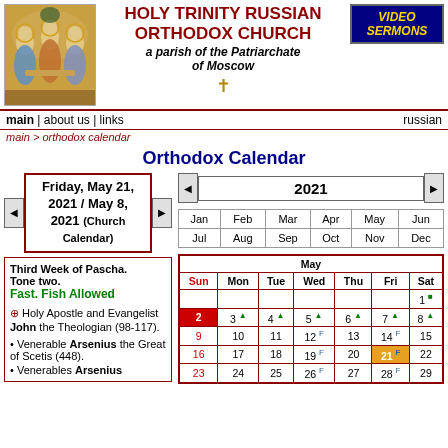HOLY TRINITY RUSSIAN ORTHODOX CHURCH
a parish of the Patriarchate of Moscow
[Figure (illustration): Russian Orthodox icon depicting the Holy Trinity - three angelic figures seated around a table, golden background]
[Figure (logo): Video Sermons logo box with dark blue background and gold text]
main | about us | links    russian
main > orthodox calendar
Orthodox Calendar
Friday, May 21, 2021 / May 8, 2021 (Church Calendar)
2021
Third Week of Pascha. Tone two. Fast. Fish Allowed
Holy Apostle and Evangelist John the Theologian (98-117).
Venerable Arsenius the Great of Scetis (448).
Venerables Arsenius
| Jan | Feb | Mar | Apr | May | Jun | Jul | Aug | Sep | Oct | Nov | Dec |
| --- | --- | --- | --- | --- | --- | --- | --- | --- | --- | --- | --- |
| Jan | Feb | Mar | Apr | May | Jun |
| Jul | Aug | Sep | Oct | Nov | Dec |
| Sun | Mon | Tue | Wed | Thu | Fri | Sat |
| --- | --- | --- | --- | --- | --- | --- |
|  |  |  |  |  |  | 1 |
| 2 | 3 | 4 | 5 | 6 | 7 | 8 |
| 9 | 10 | 11 | 12 | 13 | 14 | 15 |
| 16 | 17 | 18 | 19 | 20 | 21 | 22 |
| 23 | 24 | 25 | 26 | 27 | 28 | 29 |